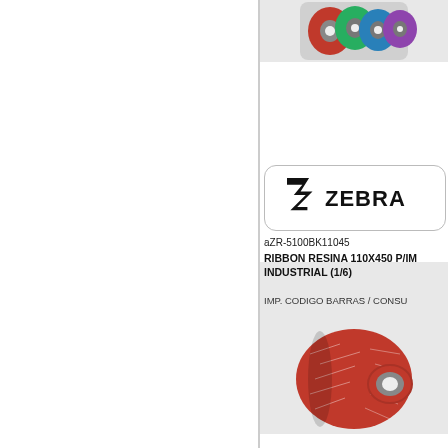[Figure (photo): Zebra ribbon product image (top), colorful ribbon rolls]
[Figure (logo): Zebra Technologies logo in rounded rectangle box]
aZR-5100BK11045
RIBBON RESINA 110X450 P/IMP. INDUSTRIAL (1/6)
IMP. CODIGO BARRAS / CONSU
[Figure (photo): Zebra ribbon product image (bottom), red ribbon roll]
[Figure (logo): Zebra Technologies logo in rounded rectangle box]
aZR-5100BK15445
RIBBON RESINA 154X450 P/IMP. INDUSTRIAL (1/6) *SP*
IMP. CODIGO BARRAS / CONSU